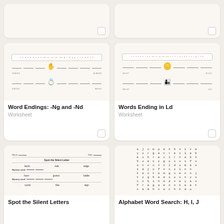[Figure (illustration): Top-left card thumbnail, partially visible, showing a worksheet with checkbox]
[Figure (illustration): Top-right card thumbnail, partially visible, showing a worksheet with checkbox]
[Figure (illustration): Middle-left card thumbnail showing a coded letter worksheet with hand and ring images for Word Endings: -Ng and -Nd]
Word Endings: -Ng and -Nd
Worksheet
[Figure (illustration): Middle-right card thumbnail showing a coded letter worksheet with coins and children images for Words Ending in Ld]
Words Ending in Ld
Worksheet
[Figure (illustration): Bottom-left card thumbnail showing Spot the Silent Letter worksheet with words: lamb, ride, edge, hour, guess, ballet, comb, like, sign]
Spot the Silent Letters
[Figure (illustration): Bottom-right card thumbnail showing Alphabet Word Search grid with letters]
Alphabet Word Search: H, I, J